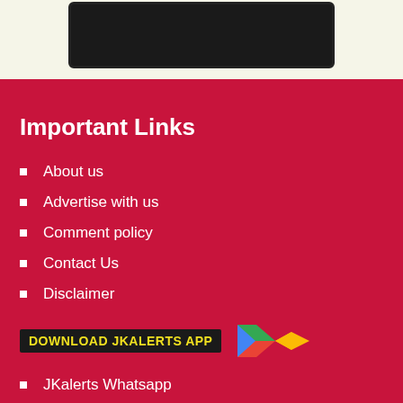[Figure (screenshot): Partial screenshot of an app banner/image on a light cream background, dark rectangle with app store imagery]
Important Links
About us
Advertise with us
Comment policy
Contact Us
Disclaimer
Education Links
Jammu Srinagar NHW fresh traffic
[Figure (logo): DOWNLOAD JKALERTS APP button/badge with Google Play triangle logo]
JKalerts Whatsapp